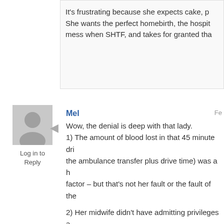It's frustrating because she expects cake, p... She wants the perfect homebirth, the hospit... mess when SHTF, and takes for granted tha...
[Figure (illustration): Generic user avatar silhouette in gray]
Log in to Reply
Mel
Fe...
Wow, the denial is deep with that lady.
1) The amount of blood lost in that 45 minute dri... the ambulance transfer plus drive time) was a h... factor – but that's not her fault or the fault of the...
2) Her midwife didn't have admitting privileges a... call ahead may well have worked to get the corr... but the fact that the hospital didn't have her reco... tells a different story. My OB has admitting privile... where we delivered Spawn. When I walked in at... everything ready. I had my vitals taken within 5 r... monitor within 7 minutes.
3) Um…..yeah, the doctors need to do manual n... some times. I can only imagine how much that s... birth at home runs that risk since she had been...